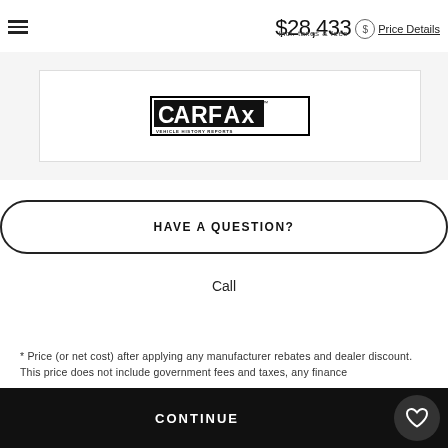$28,433 incl. taxes & fees Price Details
[Figure (logo): CARFAX Vehicle History Reports logo — black and white rectangular logo with bold CARFAX lettering and 'VEHICLE HISTORY REPORTS' subtitle]
HAVE A QUESTION?
Call
* Price (or net cost) after applying any manufacturer rebates and dealer discount. This price does not include government fees and taxes, any finance
CONTINUE